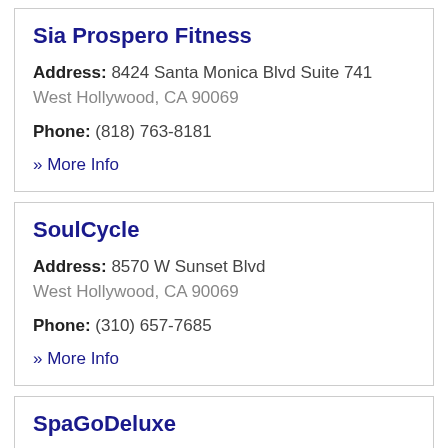Sia Prospero Fitness
Address: 8424 Santa Monica Blvd Suite 741
West Hollywood, CA 90069
Phone: (818) 763-8181
» More Info
SoulCycle
Address: 8570 W Sunset Blvd
West Hollywood, CA 90069
Phone: (310) 657-7685
» More Info
SpaGoDeluxe
Address: 840...